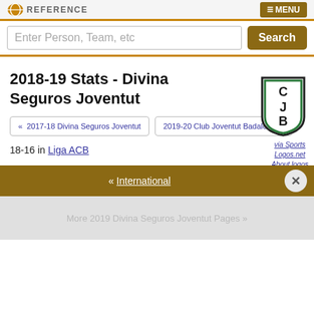REFERENCE  [MENU]
Enter Person, Team, etc  [Search]
[Figure (logo): Club Joventut Badalona shield/crest logo with C, J, B letters in green on white background with dark border]
via Sports Logos.net
About logos
2018-19 Stats - Divina Seguros Joventut
« 2017-18 Divina Seguros Joventut
2019-20 Club Joventut Badalona »
18-16 in Liga ACB
« International
More 2019 Divina Seguros Joventut Pages »